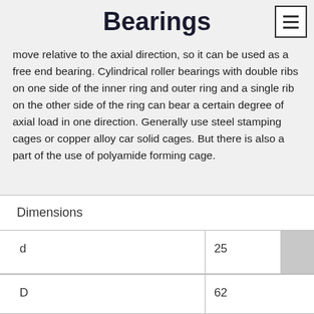Bearings
move relative to the axial direction, so it can be used as a free end bearing. Cylindrical roller bearings with double ribs on one side of the inner ring and outer ring and a single rib on the other side of the ring can bear a certain degree of axial load in one direction. Generally use steel stamping cages or copper alloy car solid cages. But there is also a part of the use of polyamide forming cage.
| Dimensions |  |  |
| --- | --- | --- |
| d | 25 |  |
| D | 62 |  |